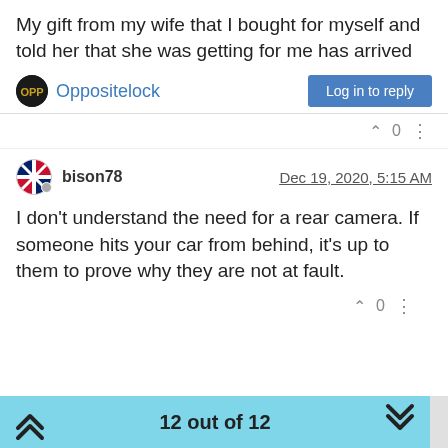My gift from my wife that I bought for myself and told her that she was getting for me has arrived
Oppositelock
Log in to reply
0
bison78  Dec 19, 2020, 5:15 AM
I don't understand the need for a rear camera. If someone hits your car from behind, it's up to them to prove why they are not at fault.
0
12 out of 12